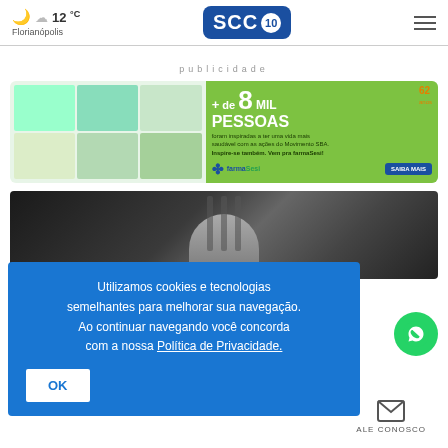12°C Florianópolis | SCC10
publicidade
[Figure (illustration): FarmaSesi advertisement banner: grid of people photos on left, green background on right with text '+de 8 MIL PESSOAS foram inspiradas a ter uma vida mais saudável com as ações do Movimento SBA. Inspire-se também. Vem pra farmaSesi!' and SAIBA MAIS button, 62 anos logo]
[Figure (photo): News article photo showing a person (appears to be politician) at a podium or speaking setup, dark background]
Utilizamos cookies e tecnologias semelhantes para melhorar sua navegação. Ao continuar navegando você concorda com a nossa Política de Privacidade.
OK
ALE CONOSCO